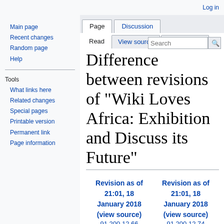Log in
Difference between revisions of "Wiki Loves Africa: Exhibition and Discuss its Future"
Main page
Recent changes
Random page
Help
Tools
What links here
Related changes
Special pages
Printable version
Permanent link
Page information
| Revision as of 21:01, 18 January 2018 (view source) | Revision as of 21:01, 18 January 2018 (view source) |
| --- | --- |
| 91.200.12.66 | 91.200.12.74 |
| (talk) | (talk) |